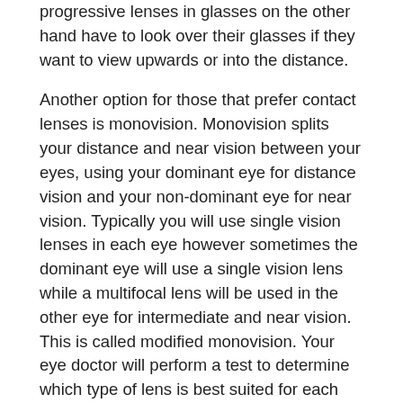progressive lenses in glasses on the other hand have to look over their glasses if they want to view upwards or into the distance.
Another option for those that prefer contact lenses is monovision. Monovision splits your distance and near vision between your eyes, using your dominant eye for distance vision and your non-dominant eye for near vision. Typically you will use single vision lenses in each eye however sometimes the dominant eye will use a single vision lens while a multifocal lens will be used in the other eye for intermediate and near vision. This is called modified monovision. Your eye doctor will perform a test to determine which type of lens is best suited for each eye and optimal vision.
Surgery
There are surgical procedures also available for treatment of presbyopia including monovision LASIK eye surgery, conductive keratoplasty (CK), corneal inlays or onlays or a refractive lens exchange (RLE) which replaces the hardened lens in the eye with an intraocular lens (IOL) similar to cataract surgery.